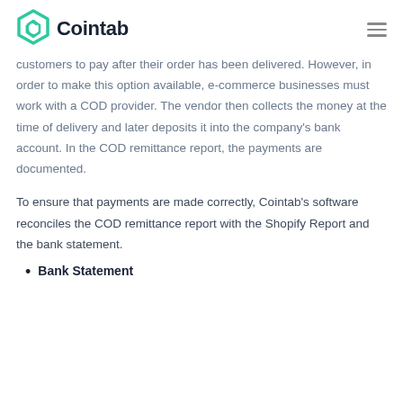Cointab
customers to pay after their order has been delivered. However, in order to make this option available, e-commerce businesses must work with a COD provider. The vendor then collects the money at the time of delivery and later deposits it into the company's bank account. In the COD remittance report, the payments are documented.
To ensure that payments are made correctly, Cointab's software reconciles the COD remittance report with the Shopify Report and the bank statement.
Bank Statement